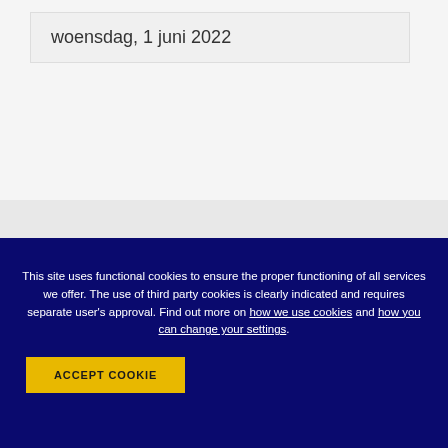woensdag, 1 juni 2022
This site uses functional cookies to ensure the proper functioning of all services we offer. The use of third party cookies is clearly indicated and requires separate user's approval. Find out more on how we use cookies and how you can change your settings.
ACCEPT COOKIE